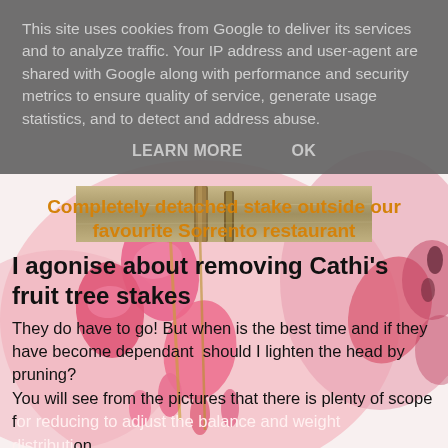This site uses cookies from Google to deliver its services and to analyze traffic. Your IP address and user-agent are shared with Google along with performance and security metrics to ensure quality of service, generate usage statistics, and to detect and address abuse.
LEARN MORE   OK
[Figure (photo): Pink bleeding heart flowers with a wooden stake visible in the background, plus a partial view of a photo strip showing a stone/marble surface with wooden stakes]
Completely detached stake outside our favourite Sorrento restaurant
I agonise about removing Cathi's fruit tree stakes
They do have to go! But when is the best time and if they have become dependant  should I lighten the head by pruning?
You will see from the pictures that there is plenty of scope for removing to adjust the balance and weight distribution...